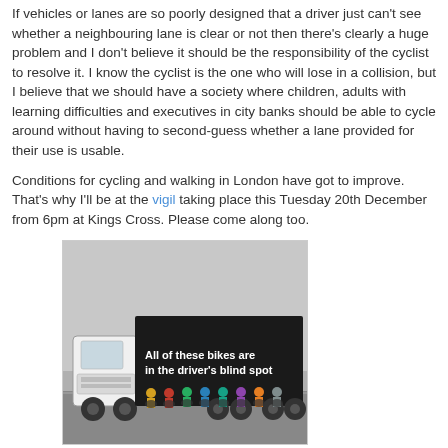If vehicles or lanes are so poorly designed that a driver just can't see whether a neighbouring lane is clear or not then there's clearly a huge problem and I don't believe it should be the responsibility of the cyclist to resolve it. I know the cyclist is the one who will lose in a collision, but I believe that we should have a society where children, adults with learning difficulties and executives in city banks should be able to cycle around without having to second-guess whether a lane provided for their use is usable.

Conditions for cycling and walking in London have got to improve. That's why I'll be at the vigil taking place this Tuesday 20th December from 6pm at Kings Cross. Please come along too.
[Figure (photo): A truck with a black trailer bearing the text 'All of these bikes are in the driver's blind spot', with cyclists riding alongside the trailer, illustrating the blind spot danger. The image is in black and white/grey tones.]